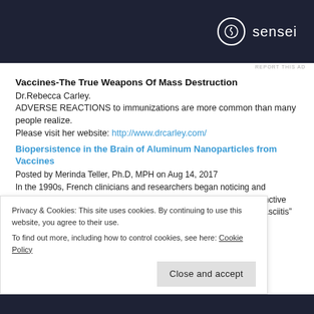[Figure (logo): Sensei brand advertisement banner with dark navy background, circular logo icon and 'sensei' text]
REPORT THIS AD
Vaccines-The True Weapons Of Mass Destruction
Dr.Rebecca Carley.
ADVERSE REACTIONS to immunizations are more common than many people realize.
Please visit her website: http://www.drcarley.com/
Biopersistence in the Brain of Aluminum Nanoparticles from Vaccines
Posted by Merinda Teller, Ph.D, MPH on Aug 14, 2017
In the 1990s, French clinicians and researchers began noticing and reporting on a mysterious inflammatory muscle disorder with a distinctive pathological pattern that later earned the name “macrophagic myofasciitis”
Privacy & Cookies: This site uses cookies. By continuing to use this website, you agree to their use.
To find out more, including how to control cookies, see here: Cookie Policy
Close and accept